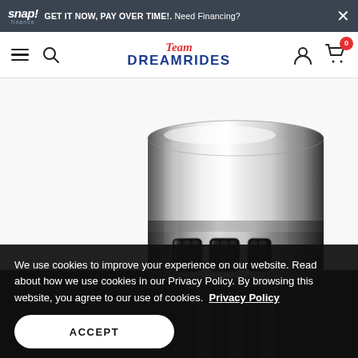snap! finance  GET IT NOW, PAY OVER TIME!. Need Financing?  ×
[Figure (logo): Team Dreamrides logo with nav icons: hamburger menu, search, user account, shopping cart with badge showing 0]
[Figure (photo): Close-up product photo of a chrome cylindrical motorcycle part, highly polished with ventilation slots near the base, on white/black background]
We use cookies to improve your experience on our website. Read about how we use cookies in our Privacy Policy. By browsing this website, you agree to our use of cookies.  Privacy Policy
ACCEPT